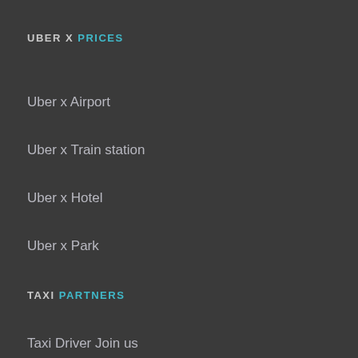UBER X PRICES
Uber x Airport
Uber x Train station
Uber x Hotel
Uber x Park
TAXI PARTNERS
Taxi Driver Join us
Uber Driver Join us
Advertisers Join us
Contact
contact@taxi-allo.com